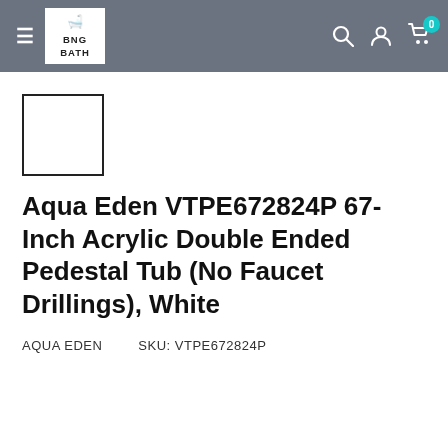BNG BATH
[Figure (other): Small white square thumbnail placeholder with black border]
Aqua Eden VTPE672824P 67-Inch Acrylic Double Ended Pedestal Tub (No Faucet Drillings), White
AQUA EDEN   SKU: VTPE672824P